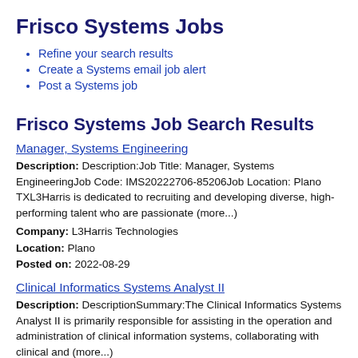Frisco Systems Jobs
Refine your search results
Create a Systems email job alert
Post a Systems job
Frisco Systems Job Search Results
Manager, Systems Engineering
Description: Description:Job Title: Manager, Systems EngineeringJob Code: IMS20222706-85206Job Location: Plano TXL3Harris is dedicated to recruiting and developing diverse, high-performing talent who are passionate (more...)
Company: L3Harris Technologies
Location: Plano
Posted on: 2022-08-29
Clinical Informatics Systems Analyst II
Description: DescriptionSummary:The Clinical Informatics Systems Analyst II is primarily responsible for assisting in the operation and administration of clinical information systems, collaborating with clinical and (more...)
Company: CHRISTUS Health